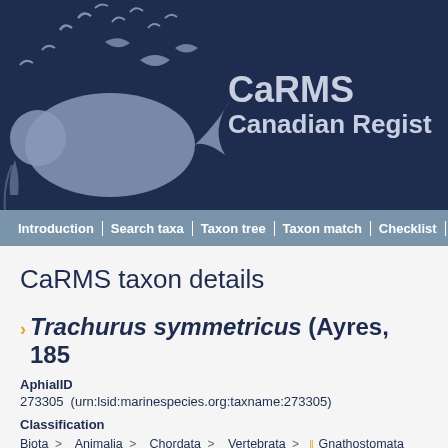[Figure (logo): CaRMS Canadian Register of Marine Species website header with logo showing marine animals silhouettes on dark navy background]
Introduction | Search taxa | Taxon tree | Taxon match | Checklist | L
CaRMS taxon details
Trachurus symmetricus (Ayres, 185...
AphialID
273305  (urn:lsid:marinespecies.org:taxname:273305)
Classification
Biota > Animalia > Chordata > Vertebrata > Gnathostomata > Teleostei > Carangiformes > Carangidae > Trachurus >
Status